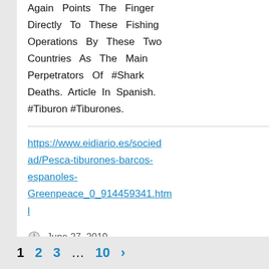Again Points The Finger Directly To These Fishing Operations By These Two Countries As The Main Perpetrators Of #Shark Deaths. Article In Spanish. #Tiburon #Tiburones.
https://www.eidiario.es/sociedad/Pesca-tiburones-barcos-espanoles-Greenpeace_0_914459341.html
June 27, 2019
1  2  3  …  10  ›